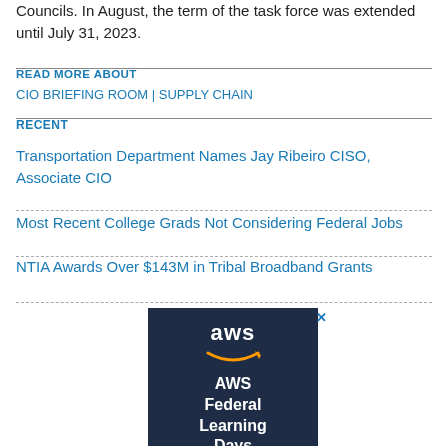Councils. In August, the term of the task force was extended until July 31, 2023.
READ MORE ABOUT
CIO BRIEFING ROOM | SUPPLY CHAIN
RECENT
Transportation Department Names Jay Ribeiro CISO, Associate CIO
Most Recent College Grads Not Considering Federal Jobs
NTIA Awards Over $143M in Tribal Broadband Grants
[Figure (illustration): AWS Federal Learning Days advertisement banner with dark navy background showing the AWS logo (text 'aws' with smile arrow), and text 'AWS Federal Learning Days']